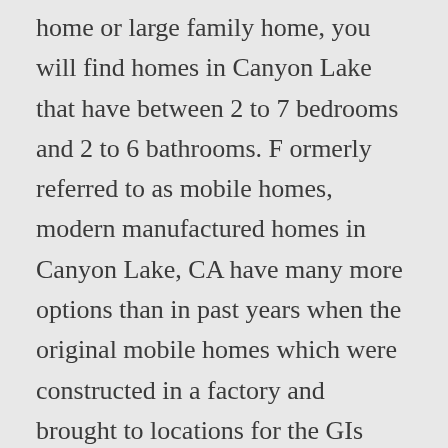home or large family home, you will find homes in Canyon Lake that have between 2 to 7 bedrooms and 2 to 6 bathrooms. F ormerly referred to as mobile homes, modern manufactured homes in Canyon Lake, CA have many more options than in past years when the original mobile homes which were constructed in a factory and brought to locations for the GIs returning home from World War II. New homes for sale in Canyon Lake, CA have a median listing price of $519,000. Most homes for sale in Canyon Lake stay on the market for 36 days and receive 15 offers. Ca area, 14 of which were newly listed within the last week independently verify the information the!